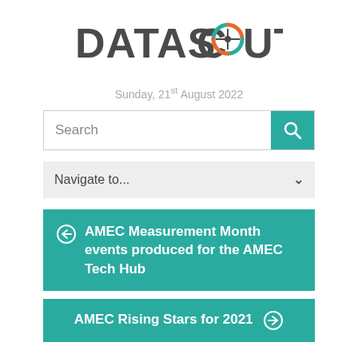[Figure (logo): DataScouting logo with compass/target icon replacing the 'O' in SCOUTING, text in dark gray, icon with orange and teal colors]
Sunday, 21st August 2022
[Figure (screenshot): Search input box with teal search button containing magnifying glass icon]
[Figure (screenshot): Navigate to... dropdown selector with chevron arrow]
← AMEC Measurement Month events produced for the AMEC Tech Hub
AMEC Rising Stars for 2021 →